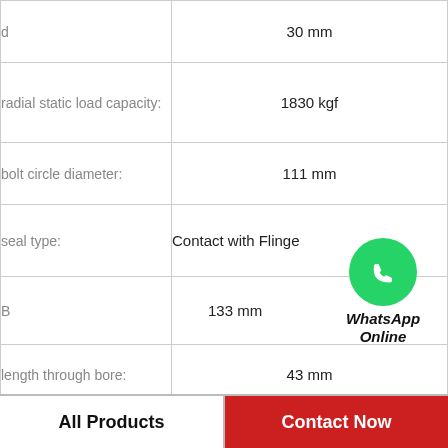| Property | Value |
| --- | --- |
| d | 30 mm |
| radial static load capacity: | 1830 kgf |
| bolt circle diameter: | 111 mm |
| seal type: | Contact with Flinge |
| B | 133 mm |
| length through bore: | 43 mm |
| bore type: | Round |
| pilot diameter: | 92 mm |
[Figure (logo): WhatsApp Online green logo with text 'WhatsApp Online']
All Products
Contact Now